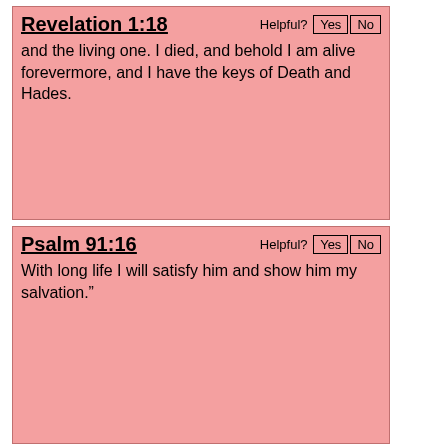Revelation 1:18
and the living one. I died, and behold I am alive forevermore, and I have the keys of Death and Hades.
Psalm 91:16
With long life I will satisfy him and show him my salvation.”
Psalm 133:3